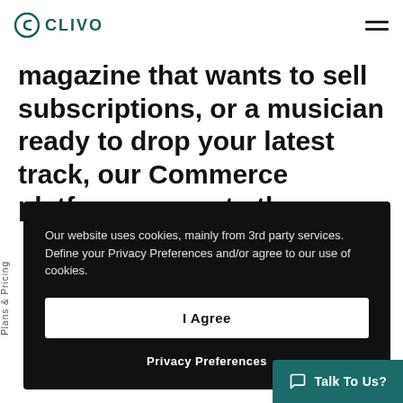CLIVO
magazine that wants to sell subscriptions, or a musician ready to drop your latest track, our Commerce platform supports the
Plans & Pricing
Our website uses cookies, mainly from 3rd party services. Define your Privacy Preferences and/or agree to our use of cookies.
I Agree
Privacy Preferences
Talk To Us?